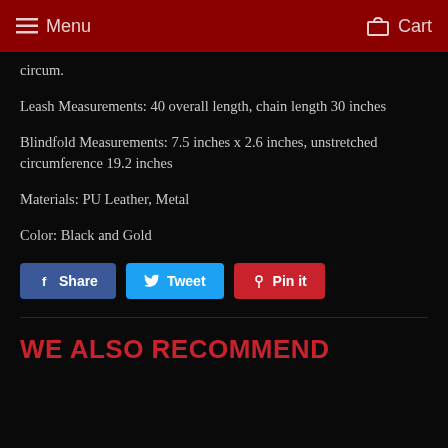Menu  Cart
circum.
Leash Measurements: 40 overall length, chain length 30 inches
Blindfold Measurements: 7.5 inches x 2.6 inches, unstretched circumference 19.2 inches
Materials: PU Leather, Metal
Color: Black and Gold
[Figure (other): Social share buttons: Share (Facebook, blue), Tweet (Twitter, cyan), Pin it (Pinterest, red)]
WE ALSO RECOMMEND